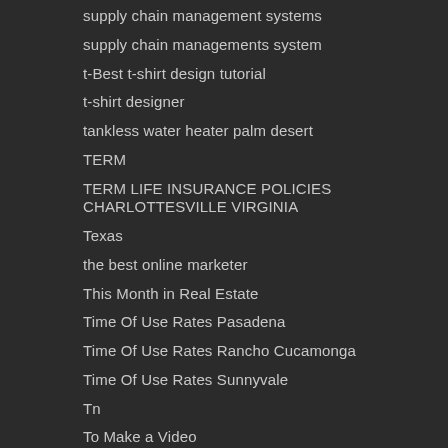supply chain management systems
supply chain managements system
t-Best t-shirt design tutorial
t-shirt designer
tankless water heater palm desert
TERM
TERM LIFE INSURANCE POLICIES CHARLOTTESVILLE VIRGINIA
Texas
the best online marketer
This Month in Real Estate
Time Of Use Rates Pasadena
Time Of Use Rates Rancho Cucamonga
Time Of Use Rates Sunnyvale
Tn
To Make a Video